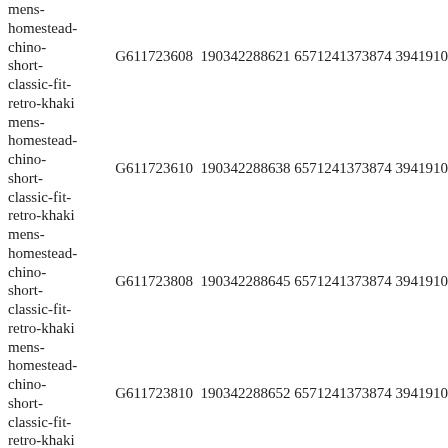| Product Name | ID | Col1 | Col2 | Col3 |
| --- | --- | --- | --- | --- |
| mens-homestead-chino-short-classic-fit-retro-khaki | G611723608 | 190342288621 | 6571241373874 | 3941910 |
| mens-homestead-chino-short-classic-fit-retro-khaki | G611723610 | 190342288638 | 6571241373874 | 3941910 |
| mens-homestead-chino-short-classic-fit-retro-khaki | G611723808 | 190342288645 | 6571241373874 | 3941910 |
| mens-homestead-chino-short-classic-fit-retro-khaki | G611723810 | 190342288652 | 6571241373874 | 3941910 |
| mens- |  |  |  |  |